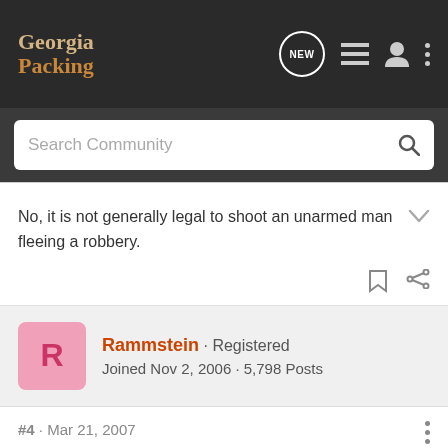Georgia Packing
No, it is not generally legal to shoot an unarmed man fleeing a robbery.
Rammstein · Registered
Joined Nov 2, 2006 · 5,798 Posts
#4 · Mar 21, 2007
I believe this is to track site statistics.